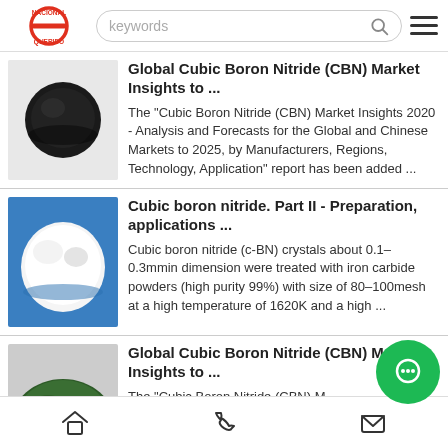NACIONALQUERIDO — keywords search bar
Global Cubic Boron Nitride (CBN) Market Insights to ... The "Cubic Boron Nitride (CBN) Market Insights 2020 - Analysis and Forecasts for the Global and Chinese Markets to 2025, by Manufacturers, Regions, Technology, Application" report has been added ...
Cubic boron nitride. Part II - Preparation, applications ... Cubic boron nitride (c-BN) crystals about 0.1–0.3mmin dimension were treated with iron carbide powders (high purity 99%) with size of 80–100mesh at a high temperature of 1620K and a high ...
Global Cubic Boron Nitride (CBN) Market Insights to ... The "Cubic Boron Nitride (CBN) M...
Home | Phone | Message